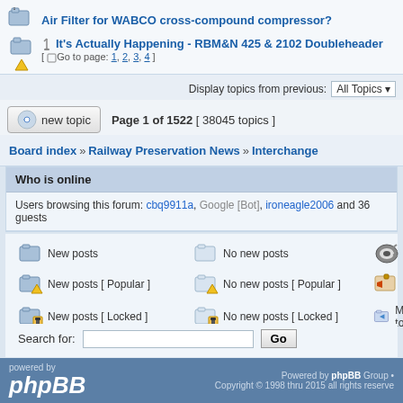Air Filter for WABCO cross-compound compressor?
It's Actually Happening - RBM&N 425 & 2102 Doubleheader [ Go to page: 1, 2, 3, 4 ]
Display topics from previous: All Topics
Page 1 of 1522 [ 38045 topics ]
Board index » Railway Preservation News » Interchange
Who is online
Users browsing this forum: cbq9911a, Google [Bot], ironeagle2006 and 36 guests
New posts   No new posts   Announcement
New posts [ Popular ]   No new posts [ Popular ]   Sticky
New posts [ Locked ]   No new posts [ Locked ]   Moved topic
Search for:  Go
powered by phpBB  Powered by phpBB Group • Copyright © 1998 thru 2015 all rights reserved